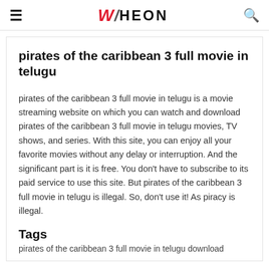≡  WHEON  🔍
pirates of the caribbean 3 full movie in telugu
pirates of the caribbean 3 full movie in telugu is a movie streaming website on which you can watch and download pirates of the caribbean 3 full movie in telugu movies, TV shows, and series. With this site, you can enjoy all your favorite movies without any delay or interruption. And the significant part is it is free. You don't have to subscribe to its paid service to use this site. But pirates of the caribbean 3 full movie in telugu is illegal. So, don't use it! As piracy is illegal.
Tags
pirates of the caribbean 3 full movie in telugu download